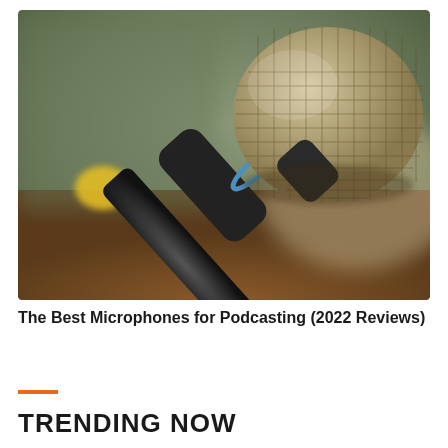[Figure (photo): Close-up photo of a handheld dynamic microphone on a stand against a blurred background. The microphone has a silver mesh grille head and a dark black body with a blue accent ring. A yellow object is visible on the left side, and the background is blurred with warm brown and green tones.]
The Best Microphones for Podcasting (2022 Reviews)
TRENDING NOW